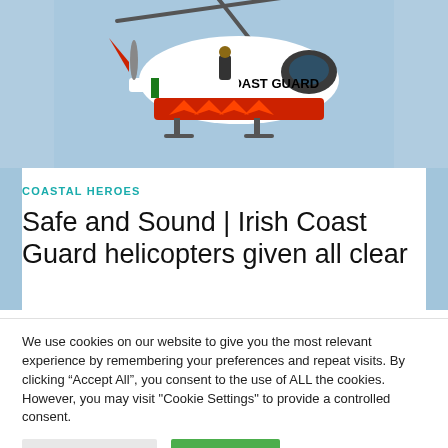[Figure (photo): Irish Coast Guard helicopter in flight, white and red livery with 'IRISH COAST GUARD' text, against a light blue sky]
COASTAL HEROES
Safe and Sound | Irish Coast Guard helicopters given all clear
We use cookies on our website to give you the most relevant experience by remembering your preferences and repeat visits. By clicking “Accept All”, you consent to the use of ALL the cookies. However, you may visit "Cookie Settings" to provide a controlled consent.